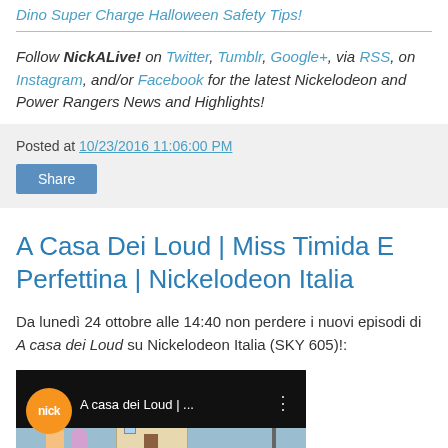Dino Super Charge Halloween Safety Tips!
Follow NickALive! on Twitter, Tumblr, Google+, via RSS, on Instagram, and/or Facebook for the latest Nickelodeon and Power Rangers News and Highlights!
Posted at 10/23/2016 11:06:00 PM
Share
A Casa Dei Loud | Miss Timida E Perfettina | Nickelodeon Italia
Da lunedì 24 ottobre alle 14:40 non perdere i nuovi episodi di A casa dei Loud su Nickelodeon Italia (SKY 605)!:
[Figure (screenshot): Video thumbnail showing Nickelodeon 'nick' orange badge, text 'A casa dei Loud | ...' and a cartoon scene with a house and basketball hoop on a light blue background.]